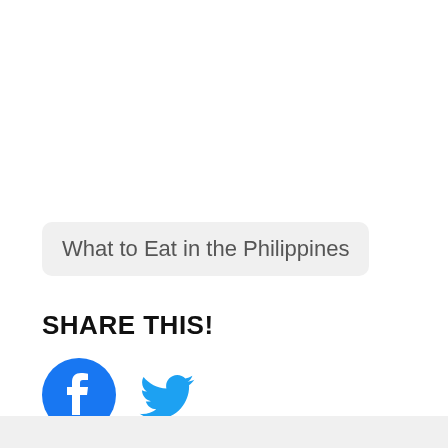What to Eat in the Philippines
SHARE THIS!
[Figure (logo): Facebook logo circle icon in blue and white]
[Figure (logo): Twitter bird icon in teal/blue]